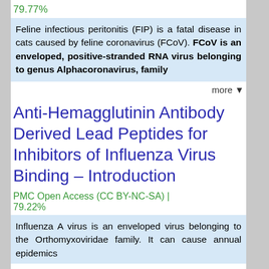79.77%
Feline infectious peritonitis (FIP) is a fatal disease in cats caused by feline coronavirus (FCoV). FCoV is an enveloped, positive-stranded RNA virus belonging to genus Alphacoronavirus, family
more ▼
Anti-Hemagglutinin Antibody Derived Lead Peptides for Inhibitors of Influenza Virus Binding – Introduction
PMC Open Access (CC BY-NC-SA) | 79.22%
Influenza A virus is an enveloped virus belonging to the Orthomyxoviridae family. It can cause annual epidemics